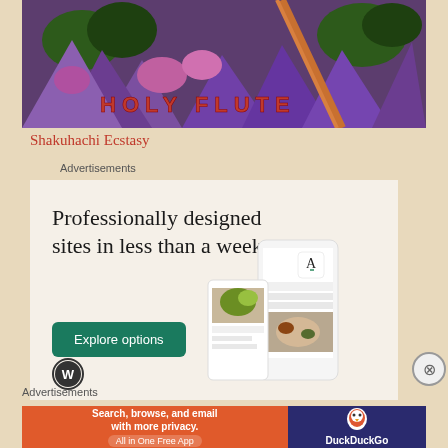[Figure (illustration): Holy Flute album art with purple rocky landscape and red text reading HOLY FLUTE]
Shakuhachi Ecstasy
Advertisements
[Figure (screenshot): WordPress advertisement: Professionally designed sites in less than a week. Explore options button. WordPress logo. Shows website mockups on phone screens.]
Advertisements
[Figure (infographic): DuckDuckGo advertisement: Search, browse, and email with more privacy. All in One Free App. DuckDuckGo logo on dark blue background.]